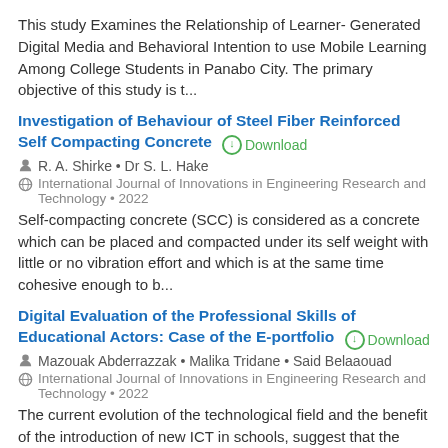This study Examines the Relationship of Learner- Generated Digital Media and Behavioral Intention to use Mobile Learning Among College Students in Panabo City. The primary objective of this study is t...
Investigation of Behaviour of Steel Fiber Reinforced Self Compacting Concrete
R. A. Shirke • Dr S. L. Hake
International Journal of Innovations in Engineering Research and Technology • 2022
Self-compacting concrete (SCC) is considered as a concrete which can be placed and compacted under its self weight with little or no vibration effort and which is at the same time cohesive enough to b...
Digital Evaluation of the Professional Skills of Educational Actors: Case of the E-portfolio
Mazouak Abderrazzak • Malika Tridane • Said Belaaouad
International Journal of Innovations in Engineering Research and Technology • 2022
The current evolution of the technological field and the benefit of the introduction of new ICT in schools, suggest that the possibilities...